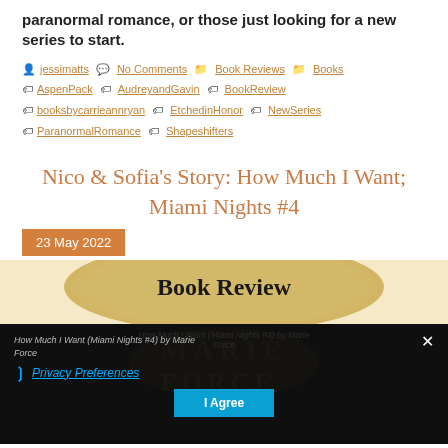paranormal romance, or those just looking for a new series to start.
jessimatts  No Comments  Book Reviews  Books  AspenPack  AudreyandGavin  BookReview  booksbycarrieannryan  EtchedinHonor  NewSeries  ParanormalRomance  Shapeshifters
Nico & Sofia's Story: How Much I Want; Miami Nights #4
23 May 2022
[Figure (other): Book Review decorative ellipse with text 'Book Review' and book cover partially visible, overlaid with privacy consent dialog showing 'Privacy Preferences' link, 'I Agree' button, and close X, with 'How Much I Want (Miami Nights #4) by Marie Force' text and MARIE FORCE watermark text]